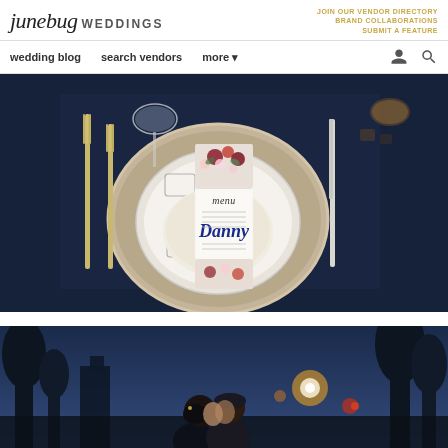junebug WEDDINGS | JOIN OUR VENDOR DIRECTORY | BRAND COLLABORATIONS | SUBMIT A FEATURE
wedding blog   search vendors   more
[Figure (photo): Wedding table place setting from above: elegant plate with decorative charger on dark navy tablecloth, gold silverware, floral menu card with 'Danny' written in blue script, crystal glassware]
[Figure (photo): Couple embracing at night outdoors, dark evening sky with warm light behind them, trees silhouetted in background]